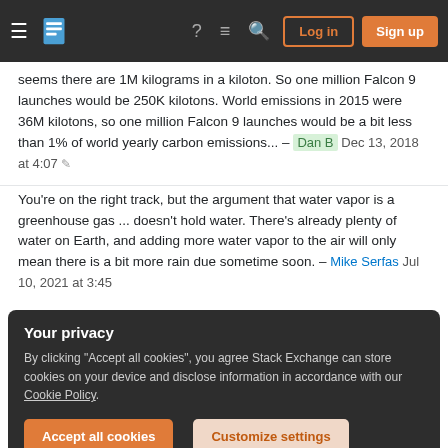Stack Exchange navigation bar with Log in and Sign up buttons
seems there are 1M kilograms in a kiloton. So one million Falcon 9 launches would be 250K kilotons. World emissions in 2015 were 36M kilotons, so one million Falcon 9 launches would be a bit less than 1% of world yearly carbon emissions... – Dan B Dec 13, 2018 at 4:07
You're on the right track, but the argument that water vapor is a greenhouse gas ... doesn't hold water. There's already plenty of water on Earth, and adding more water vapor to the air will only mean there is a bit more rain due sometime soon. – Mike Serfas Jul 10, 2021 at 3:45
Your privacy
By clicking "Accept all cookies", you agree Stack Exchange can store cookies on your device and disclose information in accordance with our Cookie Policy.